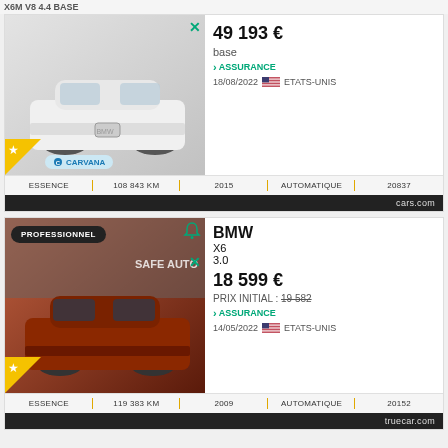[Figure (photo): White BMW X6M SUV, Carvana listing photo with star badge]
X6M V8 4.4 BASE
49 193 €
base
› ASSURANCE
18/08/2022 🇺🇸 ETATS-UNIS
ESSENCE | 108 843 KM | 2015 | AUTOMATIQUE | 20837
cars.com
[Figure (photo): Dark red BMW X6 3.0 SUV, Safe Auto professional dealer listing]
BMW
X6
3.0
18 599 €
PRIX INITIAL : 19 582
› ASSURANCE
14/05/2022 🇺🇸 ETATS-UNIS
ESSENCE | 119 383 KM | 2009 | AUTOMATIQUE | 20152
truecar.com